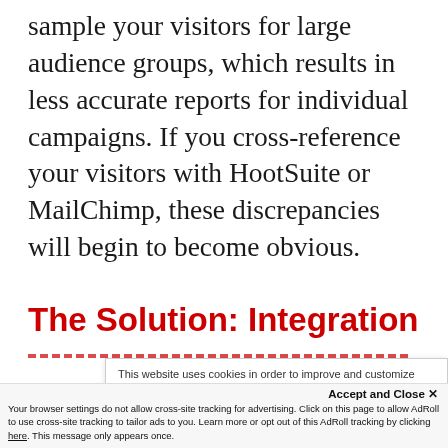sample your visitors for large audience groups, which results in less accurate reports for individual campaigns. If you cross-reference your visitors with HootSuite or MailChimp, these discrepancies will begin to become obvious.
The Solution: Integration
This website uses cookies in order to improve and customize your browsing experience and for analytics and metrics about our visitors both on this website and other media. To find out more about the cookies we use, see our Privacy Policy.
Accept and Close ✕
Your browser settings do not allow cross-site tracking for advertising. Click on this page to allow AdRoll to use cross-site tracking to tailor ads to you. Learn more or opt out of this AdRoll tracking by clicking here. This message only appears once.